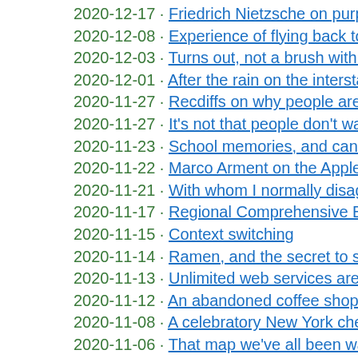2020-12-17 · Friedrich Nietzsche on purpose
2020-12-08 · Experience of flying back to the US
2020-12-03 · Turns out, not a brush with Covid
2020-12-01 · After the rain on the interstate
2020-11-27 · Recdiffs on why people are the way they are
2020-11-27 · It's not that people don't want kids…
2020-11-23 · School memories, and can I just take it down?
2020-11-22 · Marco Arment on the Apple Watch sport band
2020-11-21 · With whom I normally disagree
2020-11-17 · Regional Comprehensive Economic Partnership
2020-11-15 · Context switching
2020-11-14 · Ramen, and the secret to success
2020-11-13 · Unlimited web services aren't
2020-11-12 · An abandoned coffee shop full of letters
2020-11-08 · A celebratory New York cheesecake
2020-11-06 · That map we've all been watching
2020-11-02 · Everything normal again? Sort of, maybe, kind
2020-10-30 · Tech in the two-speed Covid economy
2020-10-29 · American friends: please vote